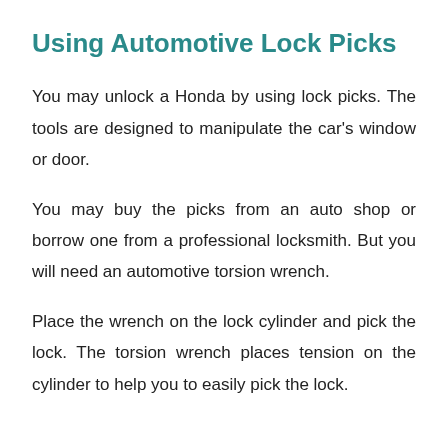Using Automotive Lock Picks
You may unlock a Honda by using lock picks. The tools are designed to manipulate the car's window or door.
You may buy the picks from an auto shop or borrow one from a professional locksmith. But you will need an automotive torsion wrench.
Place the wrench on the lock cylinder and pick the lock. The torsion wrench places tension on the cylinder to help you to easily pick the lock.